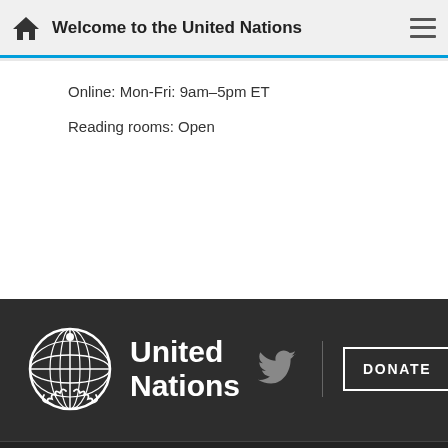Welcome to the United Nations
Online: Mon-Fri: 9am–5pm ET
Reading rooms: Open
[Figure (logo): United Nations logo with globe and olive branches, white on dark background, with 'United Nations' text in white]
[Figure (logo): Twitter bird icon in grey]
A-Z SITE INDEX | CONTACT | COPYRIGHT | FAQ | FRAUD ALERT | PRIVACY NOTICE | TERMS OF USE